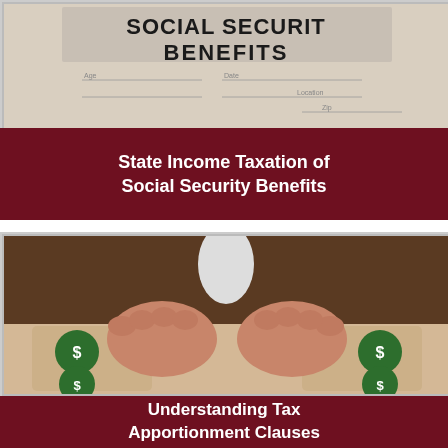[Figure (photo): Close-up photo of a Social Security Benefits form document with fields for Age, Date, Location, and Zip]
State Income Taxation of Social Security Benefits
[Figure (photo): Photo of a businessman's hands cupped together over puzzle pieces featuring green money bag icons with dollar signs]
Understanding Tax Apportionment Clauses